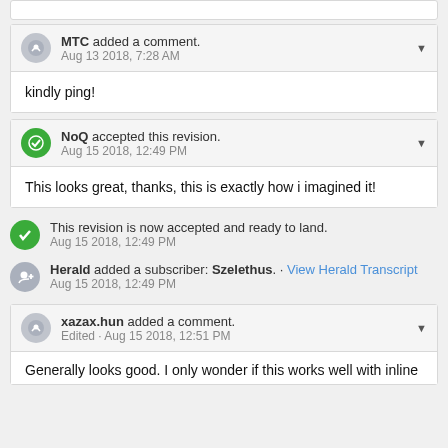MTC added a comment. Aug 13 2018, 7:28 AM
kindly ping!
NoQ accepted this revision. Aug 15 2018, 12:49 PM
This looks great, thanks, this is exactly how i imagined it!
This revision is now accepted and ready to land. Aug 15 2018, 12:49 PM
Herald added a subscriber: Szelethus. · View Herald Transcript Aug 15 2018, 12:49 PM
xazax.hun added a comment. Edited · Aug 15 2018, 12:51 PM
Generally looks good. I only wonder if this works well with inline